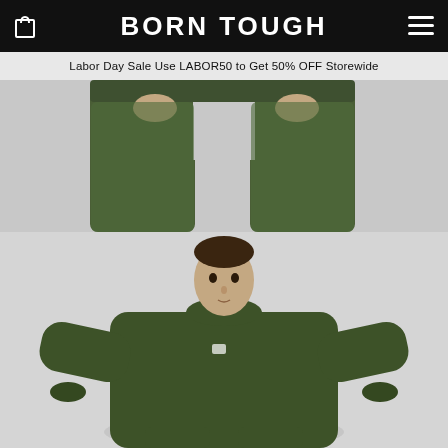BORN TOUGH
Labor Day Sale Use LABOR50 to Get 50% OFF Storewide
[Figure (photo): Close-up of a model wearing olive green athletic jogger pants, hands resting at thighs, cropped at waist and above knees, light background.]
[Figure (photo): Male model wearing an olive green long-sleeve crew-neck athletic sweatshirt with a small logo on the chest, and matching olive green jogger pants, on a light grey background, full upper body visible.]